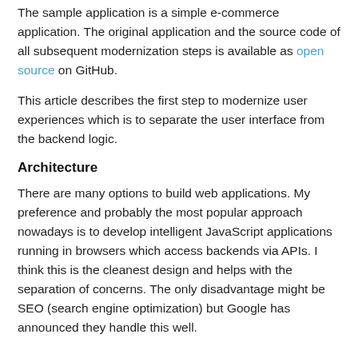The sample application is a simple e-commerce application. The original application and the source code of all subsequent modernization steps is available as open source on GitHub.
This article describes the first step to modernize user experiences which is to separate the user interface from the backend logic.
Architecture
There are many options to build web applications. My preference and probably the most popular approach nowadays is to develop intelligent JavaScript applications running in browsers which access backends via APIs. I think this is the cleanest design and helps with the separation of concerns. The only disadvantage might be SEO (search engine optimization) but Google has announced they handle this well.